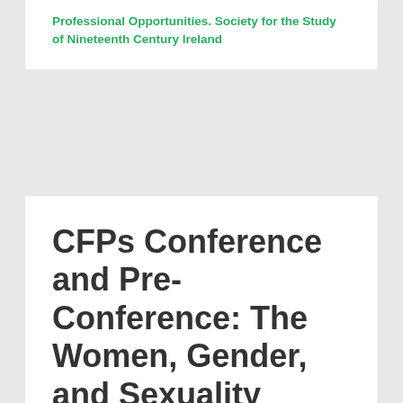Professional Opportunities. Society for the Study of Nineteenth Century Ireland
CFPs Conference and Pre-Conference: The Women, Gender, and Sexuality Network of the Social Science History Association (SSHA) Nov. 2018
December 18, 2017